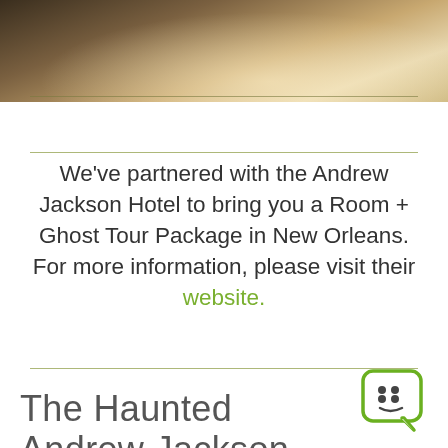[Figure (photo): Hotel room photo showing a bed with white linens, warm lighting, partial view from top]
We've partnered with the Andrew Jackson Hotel to bring you a Room + Ghost Tour Package in New Orleans. For more information, please visit their website.
[Figure (logo): Green speech bubble icon with quotation marks and a smiley face]
The Haunted Andrew Jackson Hotel